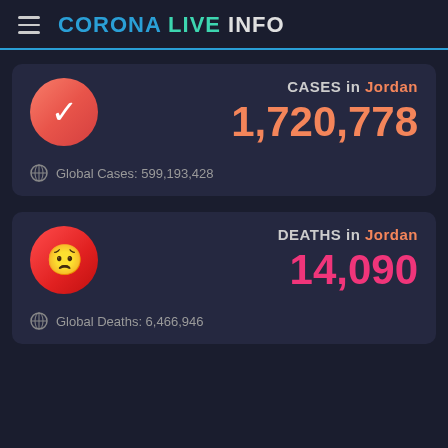CORONA LIVE INFO
CASES in Jordan
1,720,778
Global Cases: 599,193,428
DEATHS in Jordan
14,090
Global Deaths: 6,466,946